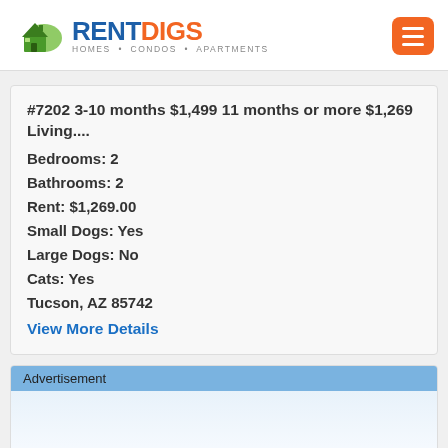RENTDIGS HOMES • CONDOS • APARTMENTS
#7202 3-10 months $1,499 11 months or more $1,269 Living....
Bedrooms: 2
Bathrooms: 2
Rent: $1,269.00
Small Dogs: Yes
Large Dogs: No
Cats: Yes
Tucson, AZ 85742
View More Details
Advertisement